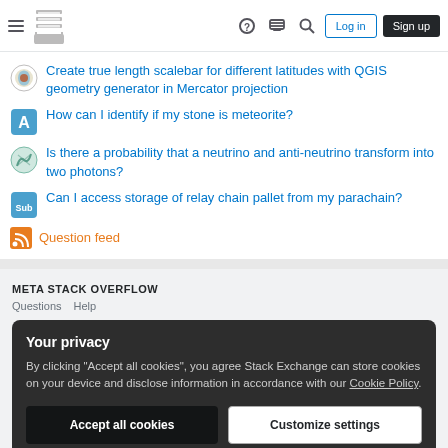Stack Exchange navigation bar with hamburger menu, logo, help, chat, search, Log in, Sign up
Create true length scalebar for different latitudes with QGIS geometry generator in Mercator projection
How can I identify if my stone is meteorite?
Is there a probability that a neutrino and anti-neutrino transform into two photons?
Can I access storage of relay chain pallet from my parachain?
Question feed
META STACK OVERFLOW
Questions   Help
Your privacy
By clicking "Accept all cookies", you agree Stack Exchange can store cookies on your device and disclose information in accordance with our Cookie Policy.
Accept all cookies   Customize settings